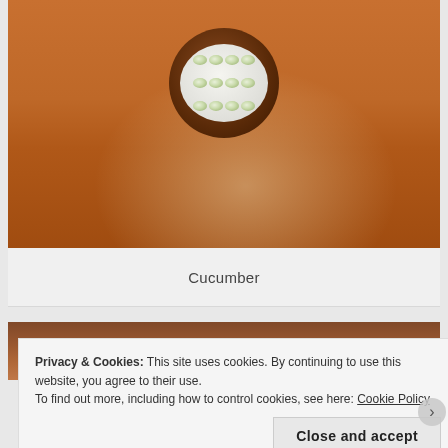[Figure (photo): A white bowl containing sliced cucumber pieces, photographed from above on a wooden table surface with warm orange-brown tones and a light reflection on the table.]
Cucumber
[Figure (photo): Partial view of a second food photo on a similar wooden table background, mostly obscured by the cookie consent banner.]
Privacy & Cookies: This site uses cookies. By continuing to use this website, you agree to their use.
To find out more, including how to control cookies, see here: Cookie Policy
Close and accept